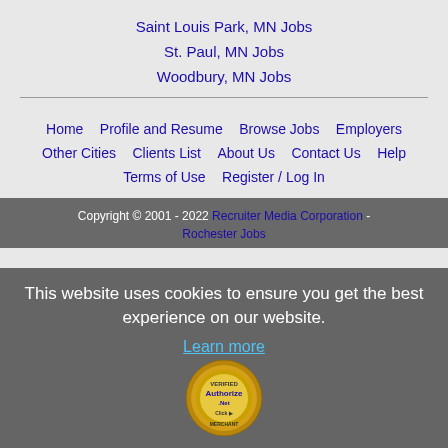Saint Louis Park, MN Jobs
St. Paul, MN Jobs
Woodbury, MN Jobs
Home   Profile and Resume   Browse Jobs   Employers   Other Cities   Clients List   About Us   Contact Us   Help   Terms of Use   Register / Log In
Copyright © 2001 - 2022 Recruiter Media Corporation - Rochester Jobs
This website uses cookies to ensure you get the best experience on our website.
Learn more
[Figure (logo): Authorize.Net Verified Merchant seal/badge]
Got it!